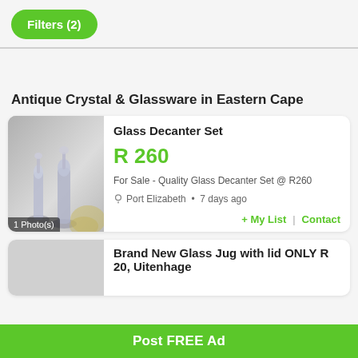Filters (2)
Antique Crystal & Glassware in Eastern Cape
[Figure (photo): Photo of glass decanter set - crystal decanters on display, with label '1 Photo(s)']
Glass Decanter Set
R 260
For Sale - Quality Glass Decanter Set @ R260
Port Elizabeth  •  7 days ago
+ My List | Contact
Brand New Glass Jug with lid ONLY R 20, Uitenhage
Post FREE Ad